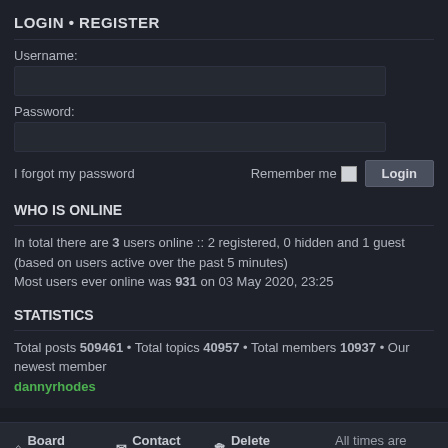LOGIN • REGISTER
Username:
Password:
I forgot my password    Remember me   Login
WHO IS ONLINE
In total there are 3 users online :: 2 registered, 0 hidden and 1 guest (based on users active over the past 5 minutes)
Most users ever online was 931 on 03 May 2020, 23:25
STATISTICS
Total posts 509461 • Total topics 40957 • Total members 10937 • Our newest member dannyrhodes
Board index   Contact us   Delete cookies   All times are UTC
Powered by phpBB® Forum Software © phpBB Limited
Prosilver Dark Edition by Premium phpBB Styles
Privacy | Terms